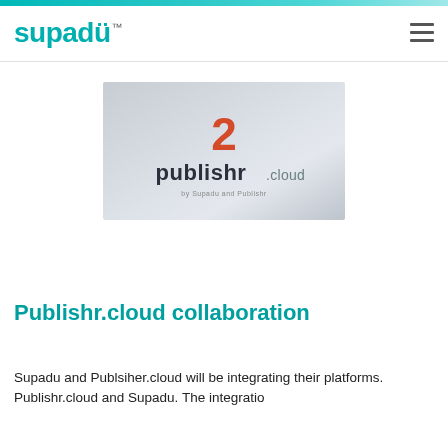supadu™
[Figure (logo): Publishr.cloud logo with large orange '2' above dark text 'publishr .cloud' on a light grey gradient background]
Publishr.cloud collaboration
Supadu and Publsiher.cloud will be integrating their platforms. Publishr.cloud and Supadu. The integratio...